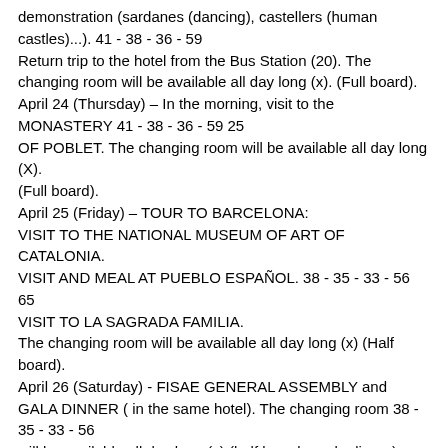demonstration (sardanes (dancing), castellers (human castles)...). 41 - 38 - 36 - 59
Return trip to the hotel from the Bus Station (20). The changing room will be available all day long (x). (Full board).
April 24 (Thursday) – In the morning, visit to the MONASTERY 41 - 38 - 36 - 59 25
OF POBLET. The changing room will be available all day long (X).
(Full board).
April 25 (Friday) – TOUR TO BARCELONA:
VISIT TO THE NATIONAL MUSEUM OF ART OF CATALONIA.
VISIT AND MEAL AT PUEBLO ESPAÑOL. 38 - 35 - 33 - 56 65
VISIT TO LA SAGRADA FAMILIA.
The changing room will be available all day long (x) (Half board).
April 26 (Saturday) - FISAE GENERAL ASSEMBLY and GALA DINNER ( in the same hotel). The changing room 38 - 35 - 33 - 56
will be available all day long (x) (half board + gala dinner).
April 27 (Sunday) – In the morning, visit to REUS ( Route of Modernism).(Full board). The changing room will be available all day long (x). 41 - 38 - 36 - 59 20
April 28 (Monday) – Departure of participants (board footnote)